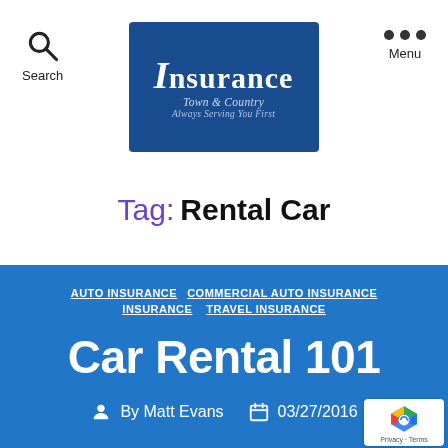[Figure (logo): Insurance Town & Country Always Serving You First logo on dark blue background]
Search | Insurance Town & Country | Menu
Tag: Rental Car
AUTO INSURANCE  COMMERCIAL AUTO INSURANCE  INSURANCE  TRAVEL INSURANCE
Car Rental 101
By Matt Evans  03/27/2016